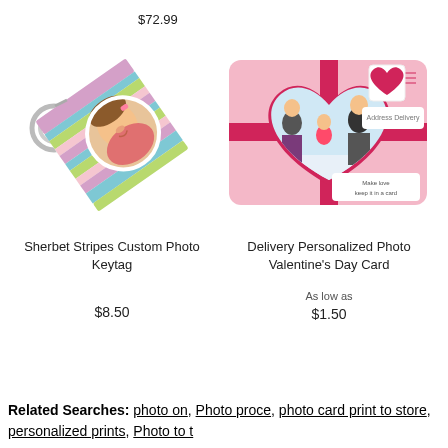$72.99
[Figure (photo): Sherbet Stripes Custom Photo Keytag - a square keychain with colorful stripes and a round photo of a child]
[Figure (photo): Delivery Personalized Photo Valentine's Day Card - a pink card with heart shape containing a family photo]
Sherbet Stripes Custom Photo Keytag
Delivery Personalized Photo Valentine's Day Card
As low as
$8.50
$1.50
Related Searches: photo on, Photo proce, photo card print to store, personalized prints, Photo to t